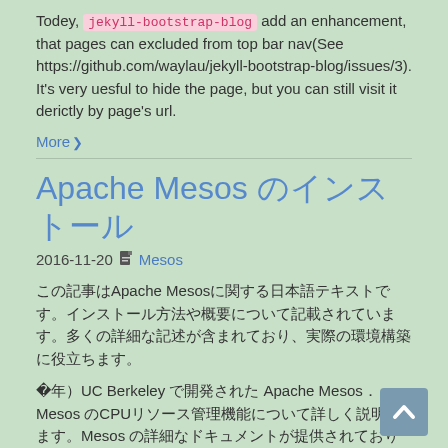Todey, jekyll-bootstrap-blog add an enhancement, that pages can excluded from top bar nav(See https://github.com/waylau/jekyll-bootstrap-blog/issues/3). It's very uesful to hide the page, but you can still visit it derictly by page's url.
More›
Apache Mesos のインストール
2016-11-20 📄 Mesos
（Japanese characters describing Apache Mesos introduction）
（2010年、UC Berkeley で開発された Apache Mesos。Mesos の CPU、メモリ等のリソース管理。Mesos の詳細について。）
今回は Mesos のインストールを行います。
More›